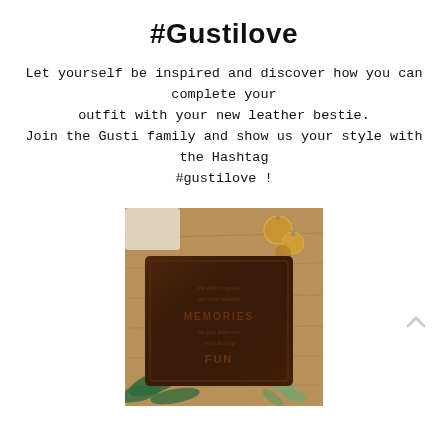#Gustilove
Let yourself be inspired and discover how you can complete your outfit with your new leather bestie.
Join the Gusti family and show us your style with the Hashtag #gustilove !
[Figure (photo): A dark brown leather journal with embossed text reading 'We didn't realize we were making MEMORIES we just knew we were having FUN', photographed on a wooden surface with golden Christmas ornaments, pine branches, and eucalyptus leaves in the background.]